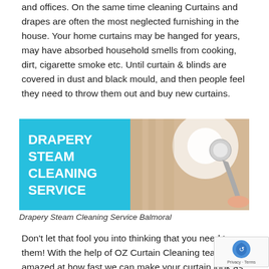and offices. On the same time cleaning Curtains and drapes are often the most neglected furnishing in the house. Your home curtains may be hanged for years, may have absorbed household smells from cooking, dirt, cigarette smoke etc. Until curtain & blinds are covered in dust and black mould, and then people feel they need to throw them out and buy new curtains.
[Figure (photo): Drapery Steam Cleaning Service advertisement image showing a hand holding a steam cleaning device against curtains, with cyan/blue panel on left reading DRAPERY STEAM CLEANING SERVICE in bold white text.]
Drapery Steam Cleaning Service Balmoral
Don't let that fool you into thinking that you need to them! With the help of OZ Curtain Cleaning team, y be amazed at how fast we can make your curtain look as